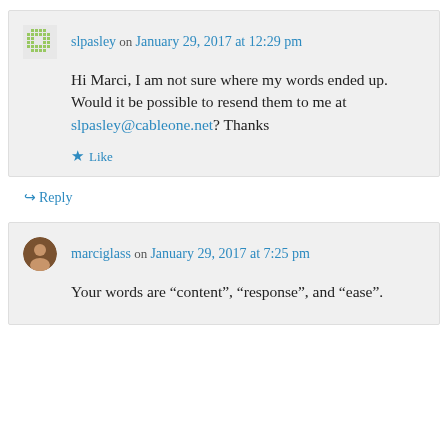slpasley on January 29, 2017 at 12:29 pm
Hi Marci, I am not sure where my words ended up. Would it be possible to resend them to me at slpasley@cableone.net? Thanks
Like
Reply
marciglass on January 29, 2017 at 7:25 pm
Your words are “content”, “response”, and “ease”.